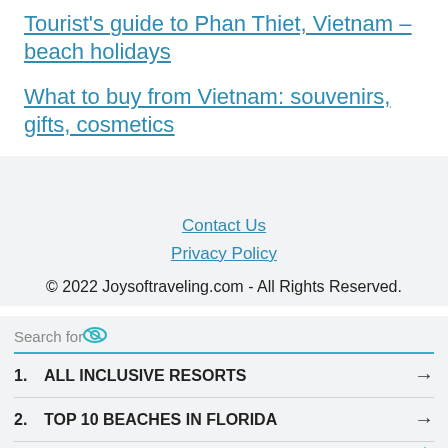Tourist's guide to Phan Thiet, Vietnam – beach holidays
What to buy from Vietnam: souvenirs, gifts, cosmetics
Contact Us
Privacy Policy
© 2022 Joysoftraveling.com - All Rights Reserved.
Search for
1. ALL INCLUSIVE RESORTS
2. TOP 10 BEACHES IN FLORIDA
Yahoo! Search | Sponsored